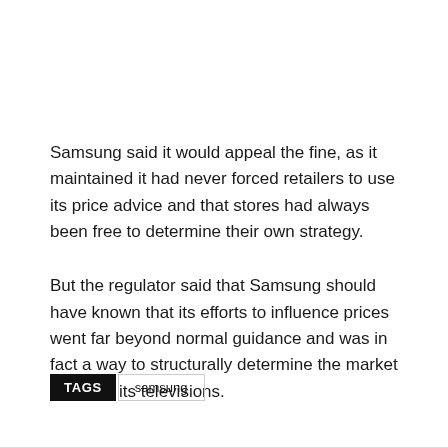Samsung said it would appeal the fine, as it maintained it had never forced retailers to use its price advice and that stores had always been free to determine their own strategy.
But the regulator said that Samsung should have known that its efforts to influence prices went far beyond normal guidance and was in fact a way to structurally determine the market prices of its televisions.
TAGS  samsung